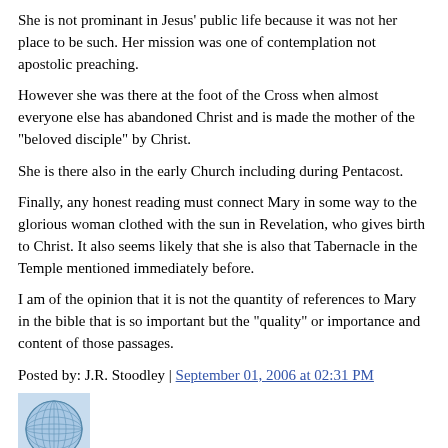She is not prominant in Jesus' public life because it was not her place to be such. Her mission was one of contemplation not apostolic preaching.
However she was there at the foot of the Cross when almost everyone else has abandoned Christ and is made the mother of the "beloved disciple" by Christ.
She is there also in the early Church including during Pentacost.
Finally, any honest reading must connect Mary in some way to the glorious woman clothed with the sun in Revelation, who gives birth to Christ. It also seems likely that she is also that Tabernacle in the Temple mentioned immediately before.
I am of the opinion that it is not the quantity of references to Mary in the bible that is so important but the "quality" or importance and content of those passages.
Posted by: J.R. Stoodley | September 01, 2006 at 02:31 PM
[Figure (illustration): Small square avatar image with a blue globe/sphere grid pattern on a light blue background]